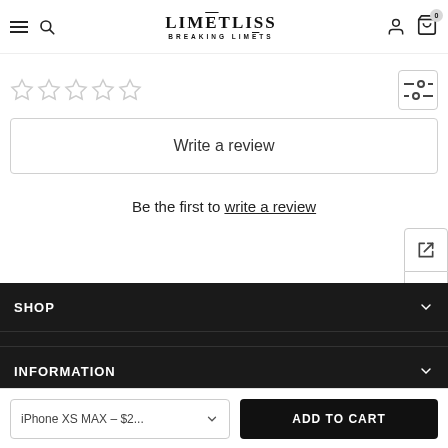LIMĒTLISS BREAKING LIMĒTS
[Figure (other): Five empty star rating icons]
[Figure (other): Filter/settings icon button]
Write a review
Be the first to write a review
[Figure (other): Side utility buttons: link-out and scroll-to-top arrows]
SHOP
INFORMATION
iPhone XS MAX – $2...
ADD TO CART